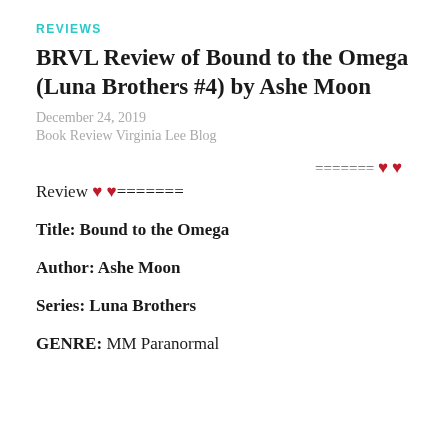REVIEWS
BRVL Review of Bound to the Omega (Luna Brothers #4) by Ashe Moon
December 24, 2019
Book Review Virginia Lee Blog
======= ❤ ❤
Review ❤ ❤=======
Title: Bound to the Omega
Author: Ashe Moon
Series: Luna Brothers
GENRE: MM Paranormal